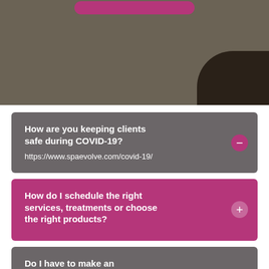[Figure (photo): Top portion of a photo showing a textured surface (spa/table background) with a dark rounded shape in the bottom right corner and a magenta pill-shaped button at the top center.]
How are you keeping clients safe during COVID-19?

https://www.spaevolve.com/covid-19/
How do I schedule the right services, treatments or choose the right products?
Do I have to make an appointment? Do you accept walk-ins?